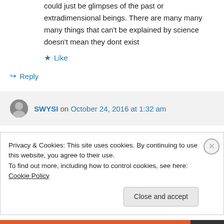could just be glimpses of the past or extradimensional beings. There are many many many things that can't be explained by science doesn't mean they dont exist
★ Like
↪ Reply
SWYSI on October 24, 2016 at 1:32 am
Privacy & Cookies: This site uses cookies. By continuing to use this website, you agree to their use.
To find out more, including how to control cookies, see here: Cookie Policy
Close and accept